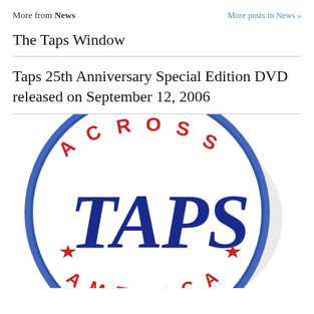More from News — More posts in News »
The Taps Window
Taps 25th Anniversary Special Edition DVD released on September 12, 2006
[Figure (logo): Circular badge/logo reading 'ACROSS TAPS AMERICA' with red stars and navy blue lettering on white background with blue border]